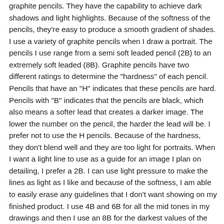graphite pencils. They have the capability to achieve dark shadows and light highlights. Because of the softness of the pencils, they're easy to produce a smooth gradient of shades. I use a variety of graphite pencils when I draw a portrait. The pencils I use range from a semi soft leaded pencil (2B) to an extremely soft leaded (8B). Graphite pencils have two different ratings to determine the "hardness" of each pencil. Pencils that have an "H" indicates that these pencils are hard. Pencils with "B" indicates that the pencils are black, which also means a softer lead that creates a darker image. The lower the number on the pencil, the harder the lead will be. I prefer not to use the H pencils. Because of the hardness, they don't blend well and they are too light for portraits. When I want a light line to use as a guide for an image I plan on detailing, I prefer a 2B. I can use light pressure to make the lines as light as I like and because of the softness, I am able to easily erase any guidelines that I don't want showing on my finished product. I use 4B and 6B for all the mid tones in my drawings and then I use an 8B for the darkest values of the drawing. A blending stump is used to blend the pencil marks together, creating a smooth texture. Tortillon is the technical name for the blending stump. It is a cylindrical drawing tool, tapered at the ends and usually made of